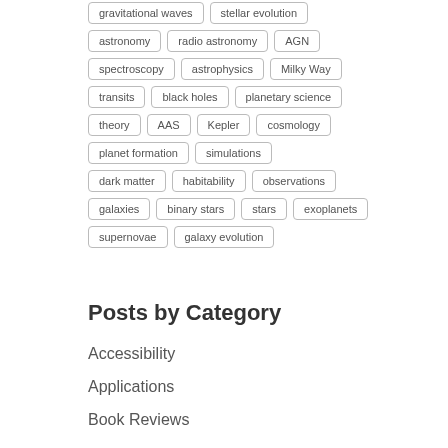gravitational waves
stellar evolution
astronomy
radio astronomy
AGN
spectroscopy
astrophysics
Milky Way
transits
black holes
planetary science
theory
AAS
Kepler
cosmology
planet formation
simulations
dark matter
habitability
observations
galaxies
binary stars
stars
exoplanets
supernovae
galaxy evolution
Posts by Category
Accessibility
Applications
Book Reviews